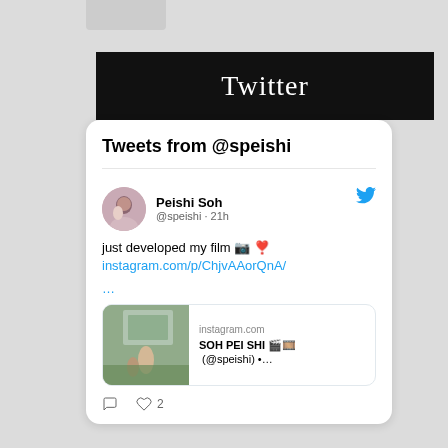[Figure (screenshot): Twitter section header banner with white 'Twitter' text on black background]
Tweets from @speishi
Peishi Soh @speishi · 21h
just developed my film 📷 ❣️ instagram.com/p/ChjvAAorQnA/ …
[Figure (screenshot): Instagram link preview card showing instagram.com domain and 'SOH PEI SHI 🎬🎞️ (@speishi) •…' title with a photo of a person on a tennis court]
♡  ♡ 2